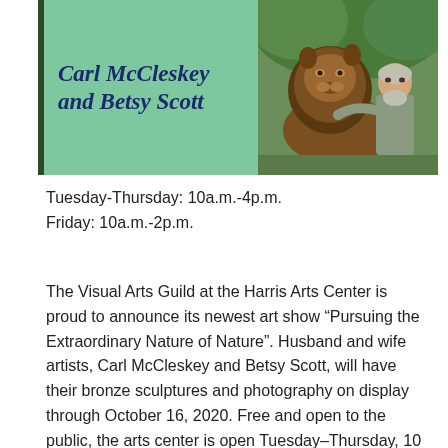[Figure (photo): Banner image with green background, a dark vertical stripe on the left, bold italic blue text reading 'Carl McCleskey and Betsy Scott', and a photo on the right of a man posing next to a large bronze lion sculpture outdoors.]
Tuesday-Thursday: 10a.m.-4p.m.
Friday: 10a.m.-2p.m.
The Visual Arts Guild at the Harris Arts Center is proud to announce its newest art show “Pursuing the Extraordinary Nature of Nature”. Husband and wife artists, Carl McCleskey and Betsy Scott, will have their bronze sculptures and photography on display through October 16, 2020. Free and open to the public, the arts center is open Tuesday–Thursday, 10 a.m.–4 p.m. and Friday, 10 a.m.–2 p.m.